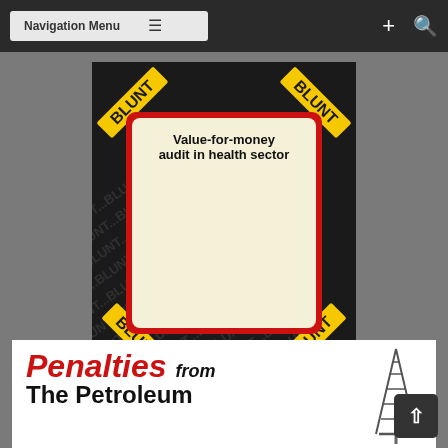Navigation Menu
[Figure (illustration): BLUNT magazine advertisement poster with black background and yellow 'BLUNT' corner labels. Center card with red border on cream background reads: 'Value-for-money audit in health sector' with body text about health sector spending in Guyana.]
[Figure (illustration): Partial banner for 'Penalties from The Petroleum' article with red italic Penalties text and oil derrick illustration on right.]